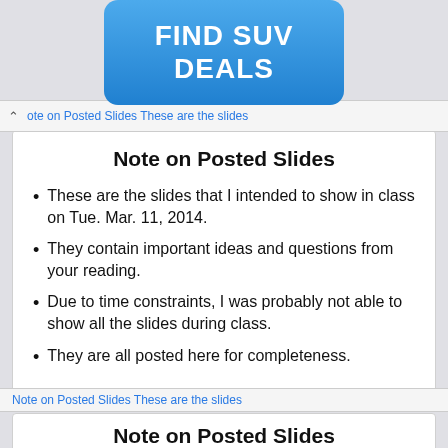[Figure (other): Blue rounded button/banner with text FIND SUV DEALS]
Note on Posted Slides These are the slides
Note on Posted Slides
These are the slides that I intended to show in class on Tue. Mar. 11, 2014.
They contain important ideas and questions from your reading.
Due to time constraints, I was probably not able to show all the slides during class.
They are all posted here for completeness.
Note on Posted Slides These are the slides
Note on Posted Slides